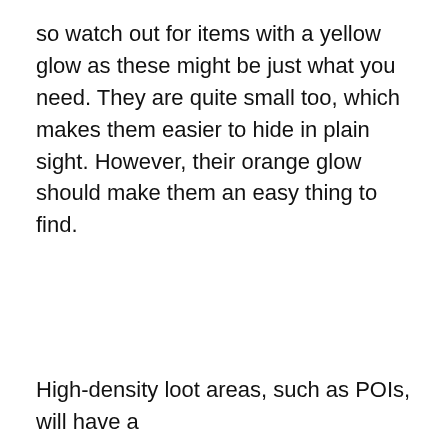so watch out for items with a yellow glow as these might be just what you need. They are quite small too, which makes them easier to hide in plain sight. However, their orange glow should make them an easy thing to find.
High-density loot areas, such as POIs, will have a